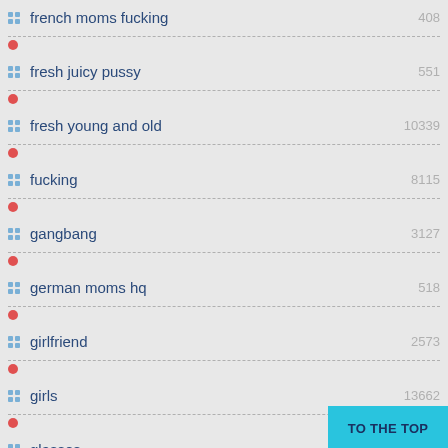french moms fucking
fresh juicy pussy
fresh young and old
fucking
gangbang
german moms hq
girlfriend
girls
glasses
gloryhole